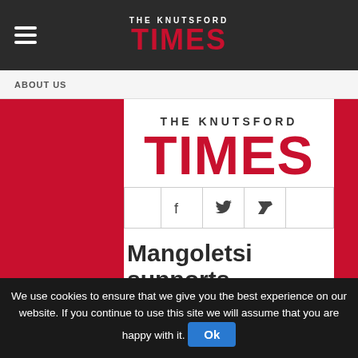THE KNUTSFORD TIMES
ABOUT US
[Figure (logo): The Knutsford Times masthead logo with large red TIMES text]
[Figure (other): Social media icons bar with Facebook, Twitter, and RSS icons]
Mangoletsi supports customer’s charity
We use cookies to ensure that we give you the best experience on our website. If you continue to use this site we will assume that you are happy with it. Ok